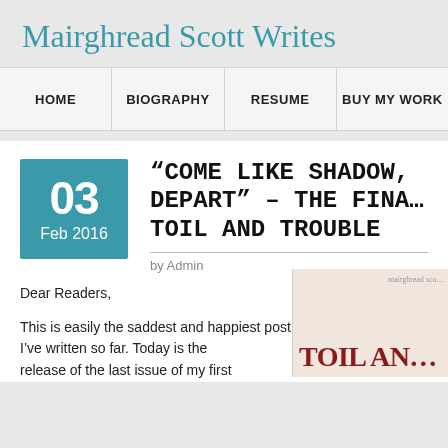Mairghread Scott Writes
HOME | BIOGRAPHY | RESUME | BUY MY WORK
“COME LIKE SHADOWS, SO DEPART” – THE FINAL ISSUE OF TOIL AND TROUBLE
by Admin
Dear Readers,
This is easily the saddest and happiest post I’ve written so far. Today is the release of the last issue of my first...
[Figure (illustration): Book cover showing 'TOIL AN...' in dark red serif letters on a light background with 'mairghread sco...' byline at top right]